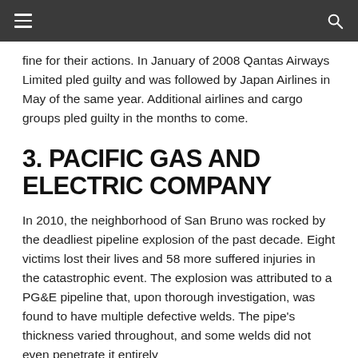≡  🔍
fine for their actions. In January of 2008 Qantas Airways Limited pled guilty and was followed by Japan Airlines in May of the same year. Additional airlines and cargo groups pled guilty in the months to come.
3. PACIFIC GAS AND ELECTRIC COMPANY
In 2010, the neighborhood of San Bruno was rocked by the deadliest pipeline explosion of the past decade. Eight victims lost their lives and 58 more suffered injuries in the catastrophic event. The explosion was attributed to a PG&E pipeline that, upon thorough investigation, was found to have multiple defective welds. The pipe's thickness varied throughout, and some welds did not even penetrate it entirely